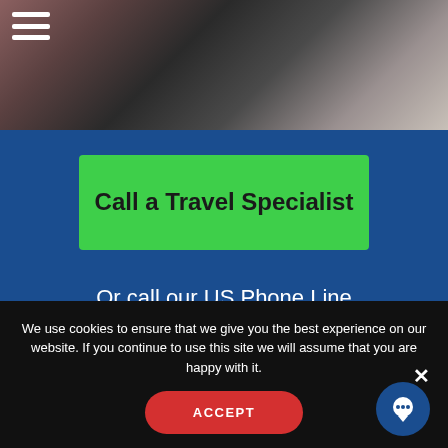[Figure (photo): Photo of a person working at a laptop, partially visible at top of page]
Call a Travel Specialist
Or call our US Phone Line
(+1) 315 636 0940
[Figure (illustration): Instagram and Facebook social media icons (white on circular backgrounds)]
We use cookies to ensure that we give you the best experience on our website. If you continue to use this site we will assume that you are happy with it.
ACCEPT